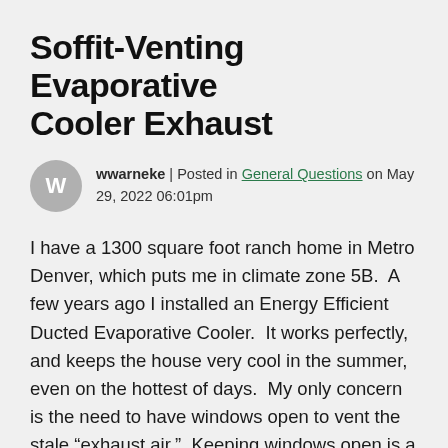Soffit-Venting Evaporative Cooler Exhaust
wwarneke | Posted in General Questions on May 29, 2022 06:01pm
I have a 1300 square foot ranch home in Metro Denver, which puts me in climate zone 5B.  A few years ago I installed an Energy Efficient Ducted Evaporative Cooler.  It works perfectly, and keeps the house very cool in the summer, even on the hottest of days.  My only concern is the need to have windows open to vent the stale “exhaust air.”  Keeping windows open is a security risk and poses a noise issue as well.